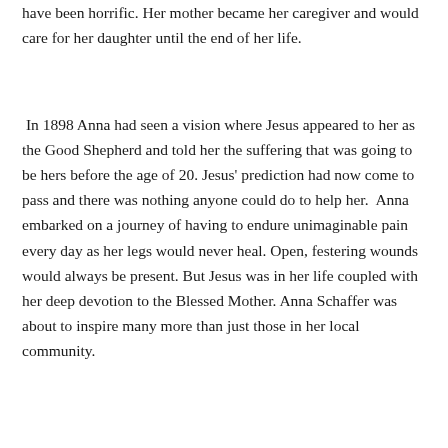have been horrific. Her mother became her caregiver and would care for her daughter until the end of her life.
In 1898 Anna had seen a vision where Jesus appeared to her as the Good Shepherd and told her the suffering that was going to be hers before the age of 20. Jesus' prediction had now come to pass and there was nothing anyone could do to help her.  Anna embarked on a journey of having to endure unimaginable pain every day as her legs would never heal. Open, festering wounds would always be present. But Jesus was in her life coupled with her deep devotion to the Blessed Mother. Anna Schaffer was about to inspire many more than just those in her local community.